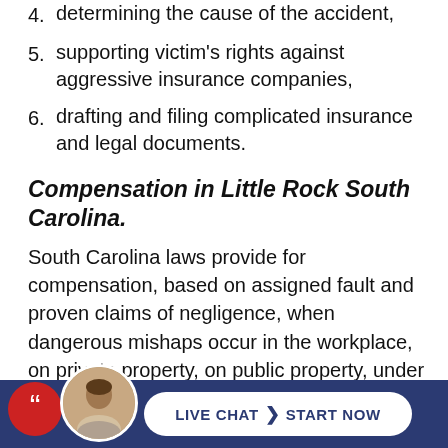4. determining the cause of the accident,
5. supporting victim’s rights against aggressive insurance companies,
6. drafting and filing complicated insurance and legal documents.
Compensation in Little Rock South Carolina.
South Carolina laws provide for compensation, based on assigned fault and proven claims of negligence, when dangerous mishaps occur in the workplace, on private property, on public property, under medical care, during vacation, or in motor vehicles. An injury attorney can explain how the
[Figure (other): Live chat bar at bottom of page with attorney avatar, red chat bubble icon, and a white pill-shaped button reading LIVE CHAT > START NOW on a dark navy background.]